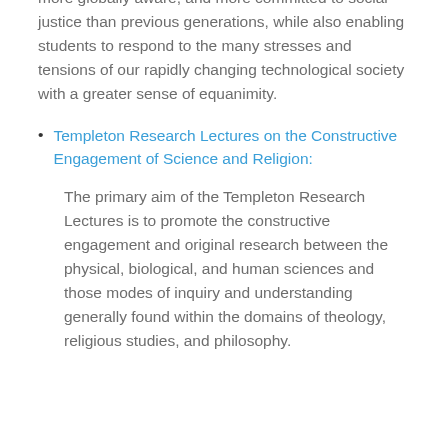help create a new generation who are more caring, more globally aware, and more committed to social justice than previous generations, while also enabling students to respond to the many stresses and tensions of our rapidly changing technological society with a greater sense of equanimity.
Templeton Research Lectures on the Constructive Engagement of Science and Religion:
The primary aim of the Templeton Research Lectures is to promote the constructive engagement and original research between the physical, biological, and human sciences and those modes of inquiry and understanding generally found within the domains of theology, religious studies, and philosophy.